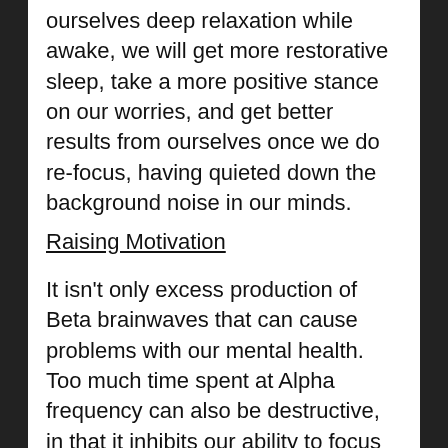ourselves deep relaxation while awake, we will get more restorative sleep, take a more positive stance on our worries, and get better results from ourselves once we do re-focus, having quieted down the background noise in our minds.
Raising Motivation
It isn't only excess production of Beta brainwaves that can cause problems with our mental health. Too much time spent at Alpha frequency can also be destructive, in that it inhibits our ability to focus when needed. It can make us feel sluggish, drowsy and unmotivated. These, of course, are symptoms of melancholic depression. A common description of how it feels to be depressed in this way is 'like everything is in slow motion' or 'I am wading through thick mud'; sometimes like being in a dream or disconnected from the world. That